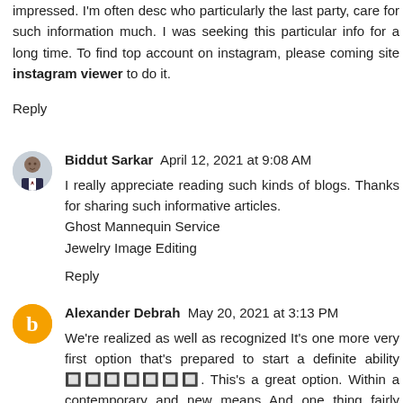impressed. I'm often desc who particularly the last party, care for such information much. I was seeking this particular info for a long time. To find top account on instagram, please coming site instagram viewer to do it.
Reply
Biddut Sarkar  April 12, 2021 at 9:08 AM
I really appreciate reading such kinds of blogs. Thanks for sharing such informative articles.
Ghost Mannequin Service
Jewelry Image Editing
Reply
Alexander Debrah  May 20, 2021 at 3:13 PM
We're realized as well as recognized It's one more very first option that's prepared to start a definite ability 🔲🔲🔲🔲🔲🔲🔲. This's a great option. Within a contemporary and new means And one thing fairly brand new It's a very good likelihood as well as lucidity 🔲🔲🔲. In your case, in addition to the readiness of